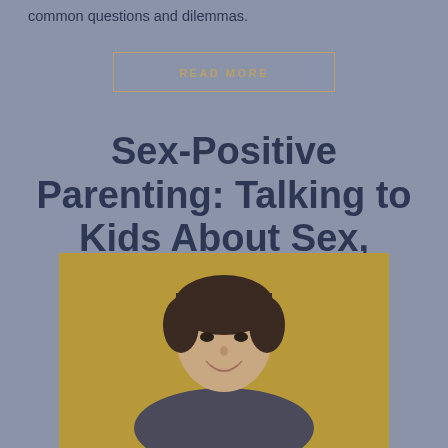common questions and dilemmas.
READ MORE
Sex-Positive Parenting: Talking to Kids About Sex, Bodies, & Relationships
[Figure (photo): Portrait photo of a woman with short dark hair, smiling slightly, against a golden/tan background. Cropped to show head and upper shoulders.]